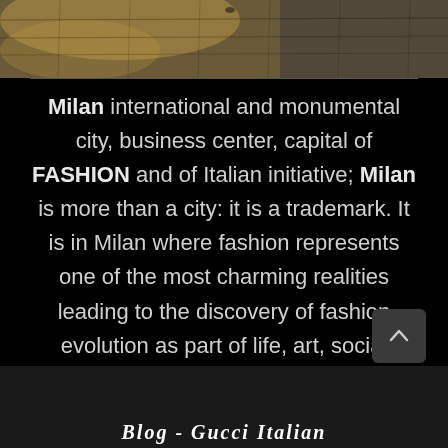[Figure (photo): Street/plaza photo showing pavement bricks with sunlight reflections, dark and golden tones]
Milan international and monumental city, business center, capital of FASHION and of Italian initiative; Milan is more than a city: it is a trademark. It is in Milan where fashion represents one of the most charming realities leading to the discovery of fashion evolution as part of life, art, social history and daily events. In Milan many designers in the world have found their inspiration, flying with fantasy through the changes in the epoch of fashion evolution.
[Figure (illustration): Scroll-to-top button (dark gray rounded square with upward chevron arrow)]
Blog - Gucci Italian